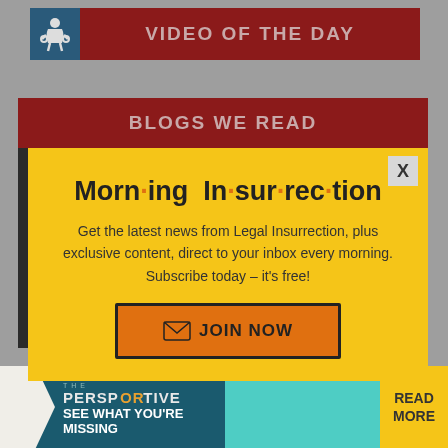VIDEO OF THE DAY
BLOGS WE READ
[Figure (screenshot): Dark background section with IN EDUCATION text]
Morn·ing In·sur·rec·tion
Get the latest news from Legal Insurrection, plus exclusive content, direct to your inbox every morning. Subscribe today – it's free!
JOIN NOW
[Figure (screenshot): Bottom advertisement banner: THE PERSPECTIVE - SEE WHAT YOU'RE MISSING - READ MORE]